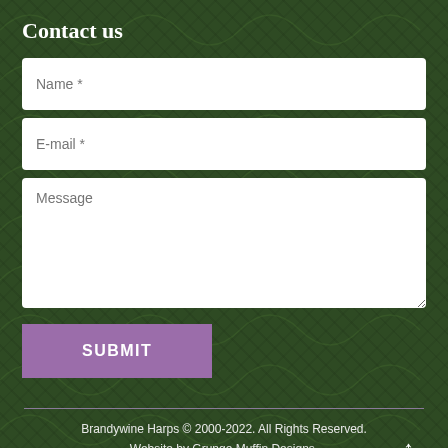Contact us
Name *
E-mail *
Message
SUBMIT
Brandywine Harps © 2000-2022. All Rights Reserved. Website by Grunge Muffin Designs.